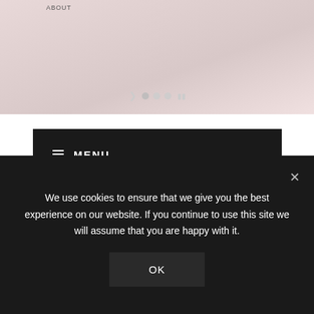[Figure (screenshot): Website screenshot showing a hero image area with navigation dots and arrow, a black menu bar with hamburger MENU text, a 'Push me' dark button overlay, and large bold headline text reading 'WCON ADDRESSES ISSUES FOR WOMEN IN MUSIC', with a cookie consent overlay at the bottom.]
ABOUT
≡ MENU
WCON ADDRESSES ISSUES FOR WOMEN IN MUSIC
Push me
We use cookies to ensure that we give you the best experience on our website. If you continue to use this site we will assume that you are happy with it.
OK